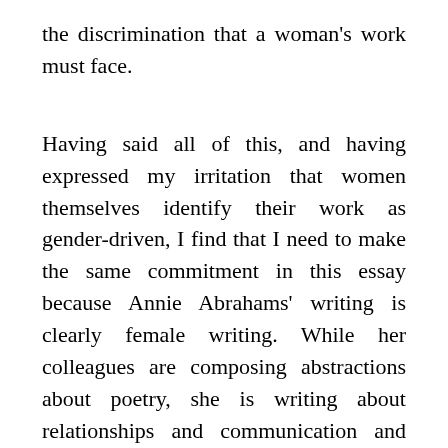the discrimination that a woman's work must face.
Having said all of this, and having expressed my irritation that women themselves identify their work as gender-driven, I find that I need to make the same commitment in this essay because Annie Abrahams' writing is clearly female writing. While her colleagues are composing abstractions about poetry, she is writing about relationships and communication and touching or not touching. Julien D'Abrigeon, for instance, plays with homonyms in "horde d'ordre &amp; d'horreur: or, hors (de); ordre, odeur; nom, nomme, mon, mène, mêle. In "Proposition de voyage temporel dans